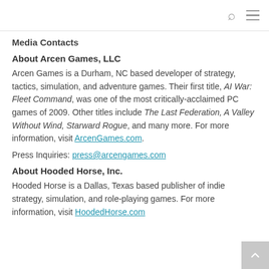search and menu icons
Media Contacts
About Arcen Games, LLC
Arcen Games is a Durham, NC based developer of strategy, tactics, simulation, and adventure games. Their first title, Al War: Fleet Command, was one of the most critically-acclaimed PC games of 2009. Other titles include The Last Federation, A Valley Without Wind, Starward Rogue, and many more. For more information, visit ArcenGames.com.
Press Inquiries: press@arcengames.com
About Hooded Horse, Inc.
Hooded Horse is a Dallas, Texas based publisher of indie strategy, simulation, and role-playing games. For more information, visit HoodedHorse.com